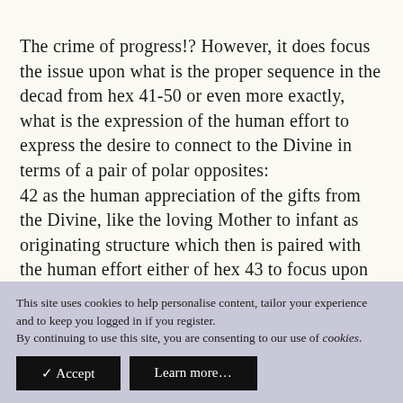The crime of progress!? However, it does focus the issue upon what is the proper sequence in the decad from hex 41-50 or even more exactly, what is the expression of the human effort to express the desire to connect to the Divine in terms of a pair of polar opposites: 42 as the human appreciation of the gifts from the Divine, like the loving Mother to infant as originating structure which then is paired with the human effort either of hex 43 to focus upon charging process without any focus upon the Next Vs. 45 the situation of focus upon feelings and mental organization only.
This site uses cookies to help personalise content, tailor your experience and to keep you logged in if you register. By continuing to use this site, you are consenting to our use of cookies.